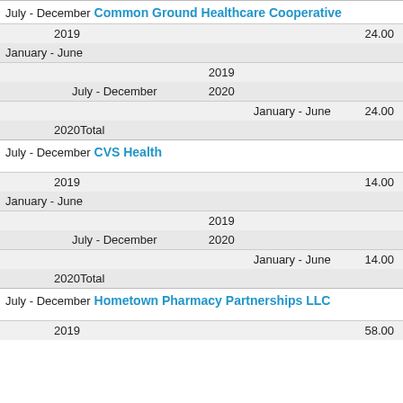| Period | Year/Sub-period | Value |
| --- | --- | --- |
| July - December | Common Ground Healthcare Cooperative |  |
| 2019 |  | 24.00 |
| January - June |  |  |
|  | 2019 |  |
| July - December | 2020 |  |
|  | January - June | 24.00 |
|  | 2020Total |  |
| July - December | CVS Health |  |
| 2019 |  | 14.00 |
| January - June |  |  |
|  | 2019 |  |
| July - December | 2020 |  |
|  | January - June | 14.00 |
|  | 2020Total |  |
| July - December | Hometown Pharmacy Partnerships LLC |  |
| 2019 |  | 58.00 |